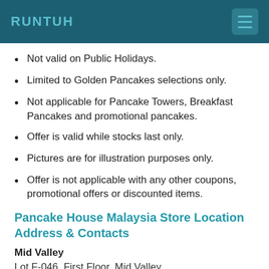RUNTUH
Not valid on Public Holidays.
Limited to Golden Pancakes selections only.
Not applicable for Pancake Towers, Breakfast Pancakes and promotional pancakes.
Offer is valid while stocks last only.
Pictures are for illustration purposes only.
Offer is not applicable with any other coupons, promotional offers or discounted items.
Pancake House Malaysia Store Location Address & Contacts
Mid Valley
Lot F-046, First Floor, Mid Valley